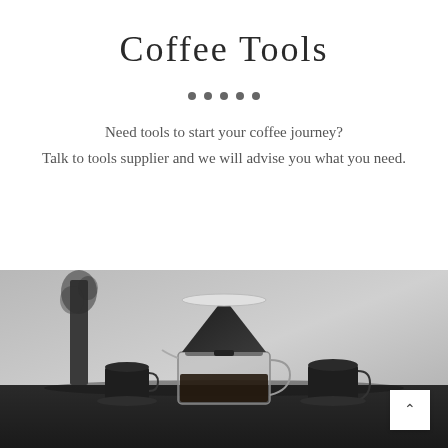Coffee Tools
• • • • •
Need tools to start your coffee journey?
Talk to tools supplier and we will advise you what you need.
[Figure (photo): Black and white / monochrome photo of a pour-over coffee dripper (funnel-shaped, dark) placed on a glass carafe, with two dark ceramic mugs on saucers on a dark table, and a floral arrangement in the background.]